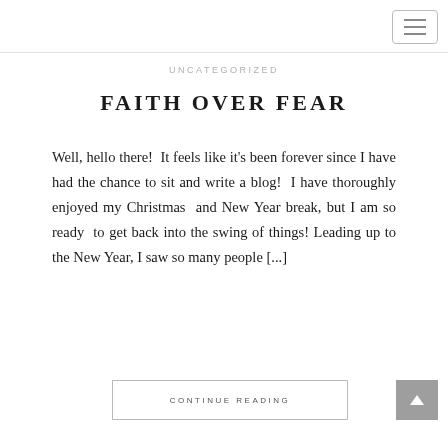UNCATEGORIZED
FAITH OVER FEAR
Well, hello there! It feels like it's been forever since I have had the chance to sit and write a blog! I have thoroughly enjoyed my Christmas and New Year break, but I am so ready to get back into the swing of things! Leading up to the New Year, I saw so many people [...]
CONTINUE READING